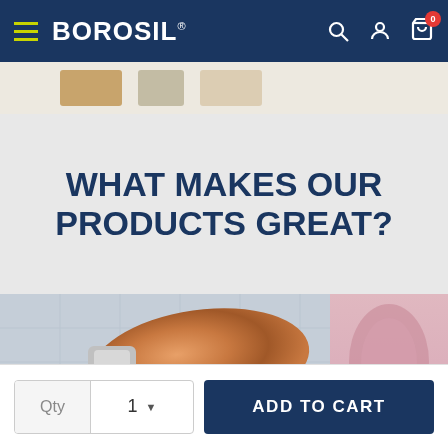BOROSIL
WHAT MAKES OUR PRODUCTS GREAT?
[Figure (photo): Close-up photo of a copper-colored stainless steel water bottle being poured, with a silver cap, on a light grey background. Partially visible pink bottle on the right side.]
ADD TO CART